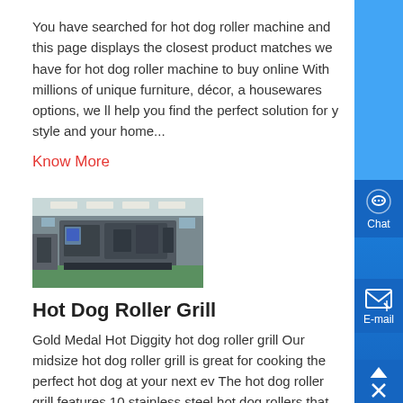You have searched for hot dog roller machine and this page displays the closest product matches we have for hot dog roller machine to buy online With millions of unique furniture, décor, a housewares options, we ll help you find the perfect solution for y style and your home...
Know More
[Figure (photo): Industrial machinery photo showing large manufacturing equipment in a factory setting with green floor]
Hot Dog Roller Grill
Gold Medal Hot Diggity hot dog roller grill Our midsize hot dog roller grill is great for cooking the perfect hot dog at your next ev The hot dog roller grill features 10 stainless steel hot dog rollers that will hold up to 27 quarter pound hot dogs Features Separat